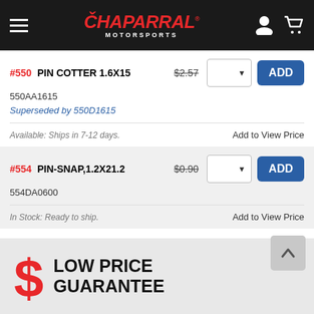Chaparral Motorsports
#550 PIN COTTER 1.6X15 $2.57 | SKU: 550AA1615 | Superseded by 550D1615 | Available: Ships in 7-12 days. | Add to View Price
#554 PIN-SNAP,1.2X21.2 $0.90 | SKU: 554DA0600 | In Stock: Ready to ship. | Add to View Price
$ LOW PRICE GUARANTEE